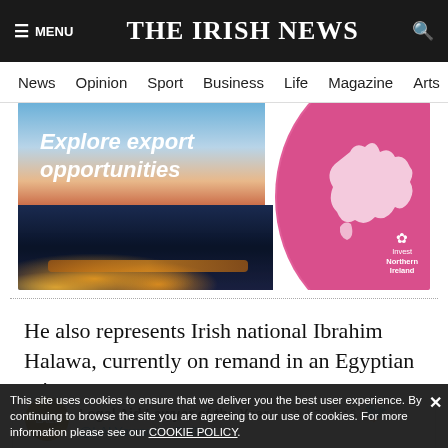THE IRISH NEWS
News  Opinion  Sport  Business  Life  Magazine  Arts
[Figure (photo): Invest Northern Ireland advertisement banner: 'Explore export opportunities' with a city skyline at dusk/night and a large pink globe showing UK/Ireland map]
He also represents Irish national Ibrahim Halawa, currently on remand in an Egyptian prison.
Legal Aid Lawyer of the Year... · Jul 7, 2016
@LALYawards · Follow
#Legalaid newcomer Farroah Mackin is only 24 but is already dealing with cases involving hugely sensitive issues at #ALY18
This site uses cookies to ensure that we deliver you the best user experience. By continuing to browse the site you are agreeing to our use of cookies. For more information please see our COOKIE POLICY.